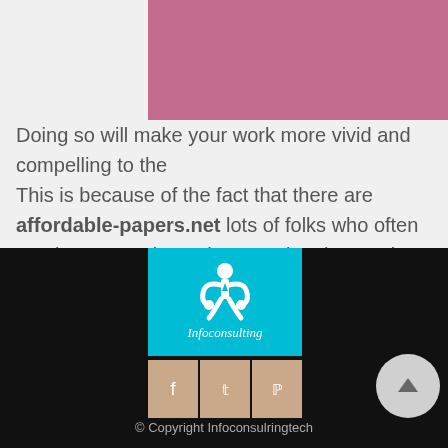[Figure (other): Pink/mauve colored banner image at top]
Doing so will make your work more vivid and compelling to the
This is because of the fact that there are affordable-papers.net lots of folks who often employ poor writers, thus wasting time and money.
viewers.
[Figure (logo): Infoconsulting logo on cyan background with white figure icon and italic text]
[Figure (other): Three social media share buttons (Facebook, Twitter, Pinterest) in tan/beige color]
[Figure (other): Circular scroll-to-top button with upward arrow]
© Copyright Infoconsulringtech